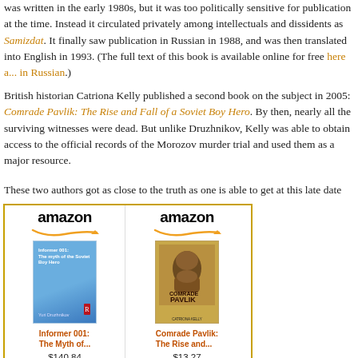was written in the early 1980s, but it was too politically sensitive for publication at the time. Instead it circulated privately among intellectuals and dissidents as Samizdat. It finally saw publication in Russian in 1988, and was then translated into English in 1993. (The full text of this book is available online for free here and in Russian.)
British historian Catriona Kelly published a second book on the subject in 2005: Comrade Pavlik: The Rise and Fall of a Soviet Boy Hero. By then, nearly all the surviving witnesses were dead. But unlike Druzhnikov, Kelly was able to obtain access to the official records of the Morozov murder trial and used them as a major resource.
These two authors got as close to the truth as one is able to get at this late date
[Figure (other): Amazon widget showing two book listings: 'Informer 001: The Myth of...' priced at $140.84 and 'Comrade Pavlik: The Rise and...' priced at $13.27, each with a Shop now button.]